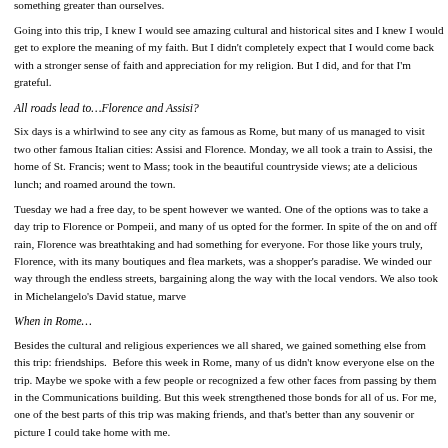different degrees of religious faith. But in spite of language barriers, we all had one thing in common: we believed in something powerful. And we believed we were in the presence of something greater than ourselves.
Going into this trip, I knew I would see amazing cultural and historical sites and I knew I would get to explore the meaning of my faith. But I didn't completely expect that I would come back with a stronger sense of faith and appreciation for my religion. But I did, and for that I'm grateful.
All roads lead to…Florence and Assisi?
Six days is a whirlwind to see any city as famous as Rome, but many of us managed to visit two other famous Italian cities: Assisi and Florence. Monday, we all took a train to Assisi, the home of St. Francis; went to Mass; took in the beautiful countryside views; ate a delicious lunch; and roamed around the town.
Tuesday we had a free day, to be spent however we wanted. One of the options was to take a day trip to Florence or Pompeii, and many of us opted for the former. In spite of the on and off rain, Florence was breathtaking and had something for everyone. For those like yours truly, Florence, with its many boutiques and flea markets, was a shopper's paradise. We winded our way through the endless streets, bargaining along the way with the local vendors. We also took in Michelangelo's David statue, marve
When in Rome…
Besides the cultural and religious experiences we all shared, we gained something else from this trip: friendships.  Before this week in Rome, many of us didn't know everyone else on the trip. Maybe we spoke with a few people or recognized a few other faces from passing by them in the Communications building. But this week strengthened those bonds for all of us. For me, one of the best parts of this trip was making friends, and that's better than any souvenir or picture I could take home with me.
Two years ago, I wrote an article for the Host about a trip to Rome. I spoke to the